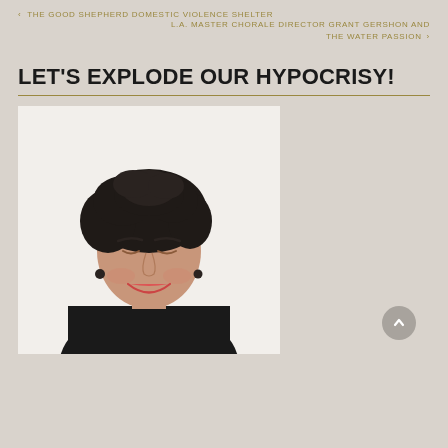‹ THE GOOD SHEPHERD DOMESTIC VIOLENCE SHELTER
L.A. MASTER CHORALE DIRECTOR GRANT GERSHON AND THE WATER PASSION ›
LET'S EXPLODE OUR HYPOCRISY!
[Figure (photo): A woman with short dark curly hair, eyes closed and smiling, wearing a black top, photographed against a light background. Image is cropped to show head and upper body.]